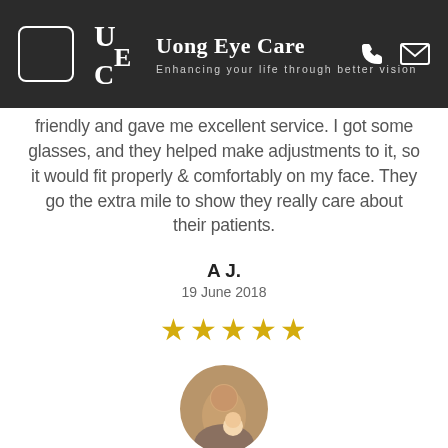Uong Eye Care — Enhancing your life through better vision
friendly and gave me excellent service. I got some glasses, and they helped make adjustments to it, so it would fit properly & comfortably on my face. They go the extra mile to show they really care about their patients.
A J.
19 June 2018
[Figure (other): Five gold star rating]
[Figure (photo): Circular avatar photo of a man with a child]